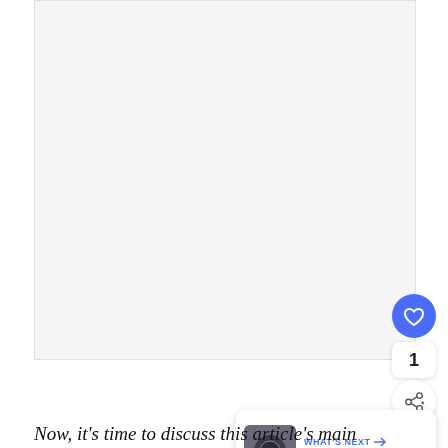[Figure (photo): Large image placeholder, mostly white/light gray, occupying the top portion of the page]
[Figure (infographic): UI overlay: heart/like button (blue circle), like count showing '1', share button (circle with share icon), and 'WHAT'S NEXT' card with thumbnail and text 'Is Bulova A Luxury...']
Now, it's time to discuss this article's main